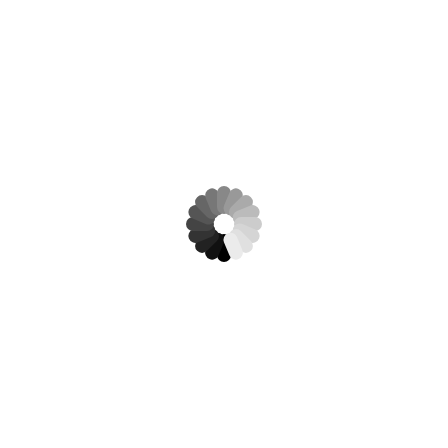[Figure (other): A loading spinner icon — circular arrangement of 16 rounded rectangular dashes fading from black (at the 9 o'clock position) through dark gray, medium gray, and light gray back around to nearly white, centered on a white background.]